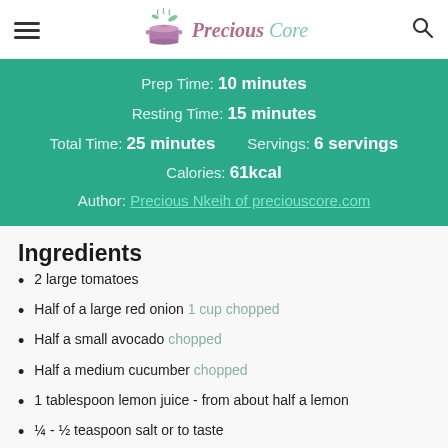Precious Core
Prep Time: 10 minutes
Resting Time: 15 minutes
Total Time: 25 minutes   Servings: 6 servings
Calories: 61kcal
Author: Precious Nkeih of preciouscore.com
Ingredients
2 large tomatoes
Half of a large red onion 1 cup chopped
Half a small avocado chopped
Half a medium cucumber chopped
1 tablespoon lemon juice - from about half a lemon
¼ - ½ teaspoon salt or to taste
1 tablespoon olive oil